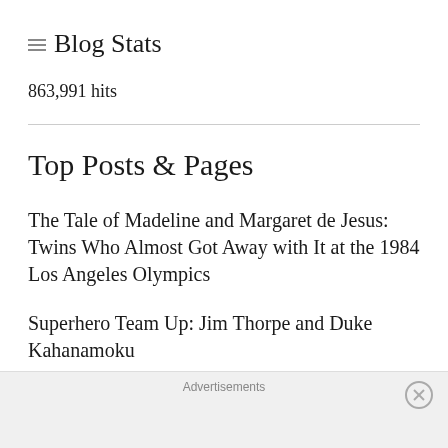Blog Stats
863,991 hits
Top Posts & Pages
The Tale of Madeline and Margaret de Jesus: Twins Who Almost Got Away with It at the 1984 Los Angeles Olympics
Superhero Team Up: Jim Thorpe and Duke Kahanamoku
Advertisements